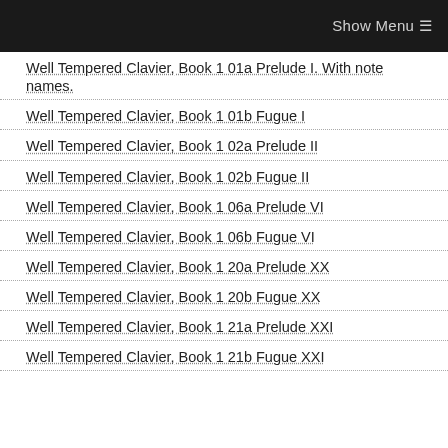Show Menu ☰
Well Tempered Clavier, Book 1 01a Prelude I. With note names.
Well Tempered Clavier, Book 1 01b Fugue I
Well Tempered Clavier, Book 1 02a Prelude II
Well Tempered Clavier, Book 1 02b Fugue II
Well Tempered Clavier, Book 1 06a Prelude VI
Well Tempered Clavier, Book 1 06b Fugue VI
Well Tempered Clavier, Book 1 20a Prelude XX
Well Tempered Clavier, Book 1 20b Fugue XX
Well Tempered Clavier, Book 1 21a Prelude XXI
Well Tempered Clavier, Book 1 21b Fugue XXI